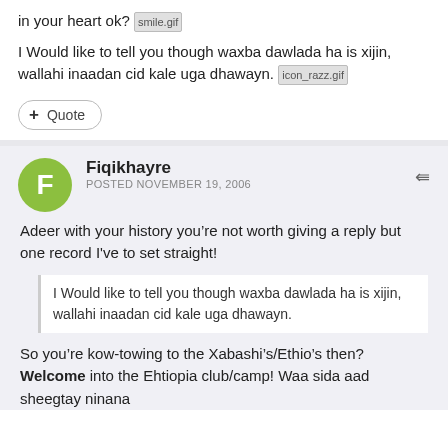in your heart ok? [smile.gif]
I Would like to tell you though waxba dawlada ha is xijin, wallahi inaadan cid kale uga dhawayn. [icon_razz.gif]
+ Quote
Fiqikhayre
POSTED NOVEMBER 19, 2006
Adeer with your history you’re not worth giving a reply but one record I've to set straight!
I Would like to tell you though waxba dawlada ha is xijin, wallahi inaadan cid kale uga dhawayn.
So you’re kow-towing to the Xabashi’s/Ethio’s then? Welcome into the Ehtiopia club/camp! Waa sida aad sheegtay ninana